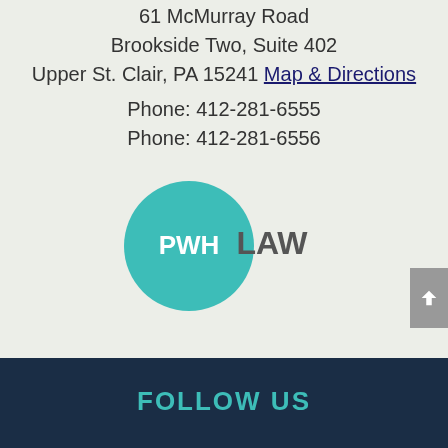61 McMurray Road
Brookside Two, Suite 402
Upper St. Clair, PA 15241 Map & Directions
Phone: 412-281-6555
Phone: 412-281-6556
[Figure (logo): PWH LAW logo — teal circle with 'PWH' in white text, followed by 'LAW' in gray text outside the circle]
FOLLOW US